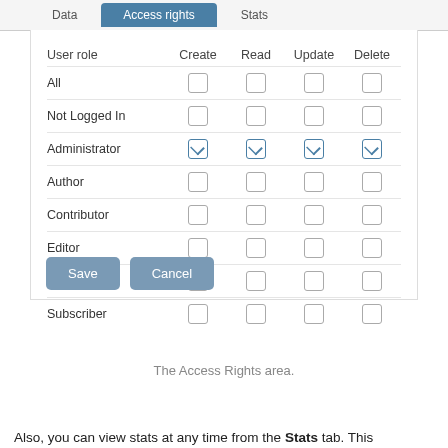[Figure (screenshot): Tab navigation bar showing 'Data', 'Access rights' (active/selected in blue), and 'Stats' tabs]
| User role | Create | Read | Update | Delete |
| --- | --- | --- | --- | --- |
| All | ☐ | ☐ | ☐ | ☐ |
| Not Logged In | ☐ | ☐ | ☐ | ☐ |
| Administrator | ☑ | ☑ | ☑ | ☑ |
| Author | ☐ | ☐ | ☐ | ☐ |
| Contributor | ☐ | ☐ | ☐ | ☐ |
| Editor | ☐ | ☐ | ☐ | ☐ |
| Revisor | ☐ | ☐ | ☐ | ☐ |
| Subscriber | ☐ | ☐ | ☐ | ☐ |
The Access Rights area.
Also, you can view stats at any time from the Stats tab. This